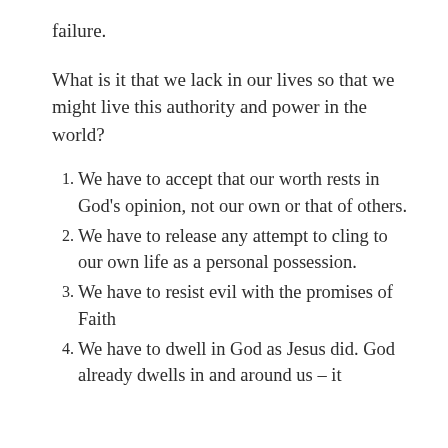failure.
What is it that we lack in our lives so that we might live this authority and power in the world?
We have to accept that our worth rests in God’s opinion, not our own or that of others.
We have to release any attempt to cling to our own life as a personal possession.
We have to resist evil with the promises of Faith
We have to dwell in God as Jesus did. God already dwells in and around us – it